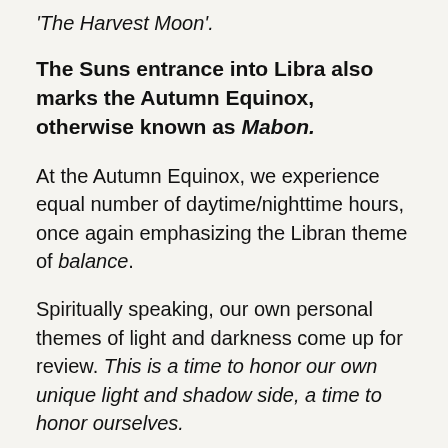'The Harvest Moon'.
The Suns entrance into Libra also marks the Autumn Equinox, otherwise known as Mabon.
At the Autumn Equinox, we experience equal number of daytime/nighttime hours, once again emphasizing the Libran theme of balance.
Spiritually speaking, our own personal themes of light and darkness come up for review. This is a time to honor our own unique light and shadow side, a time to honor ourselves.